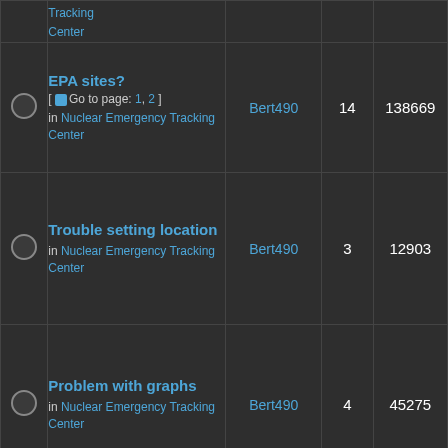|  | Topic | Author | Replies | Views |
| --- | --- | --- | --- | --- |
|  | Tracking Center |  |  |  |
|  | EPA sites?
[ Go to page: 1, 2 ]
in Nuclear Emergency Tracking Center | Bert490 | 14 | 138669 |
|  | Trouble setting location
in Nuclear Emergency Tracking Center | Bert490 | 3 | 12903 |
|  | Problem with graphs
in Nuclear Emergency Tracking Center | Bert490 | 4 | 45275 |
|  |  |  |  |  |